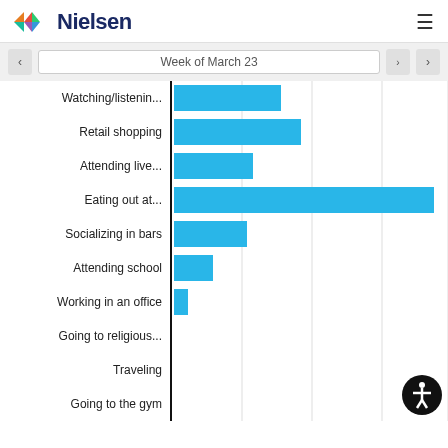[Figure (logo): Nielsen logo with colorful diamond/arrow icon and dark blue text]
[Figure (bar-chart): Week of March 23]